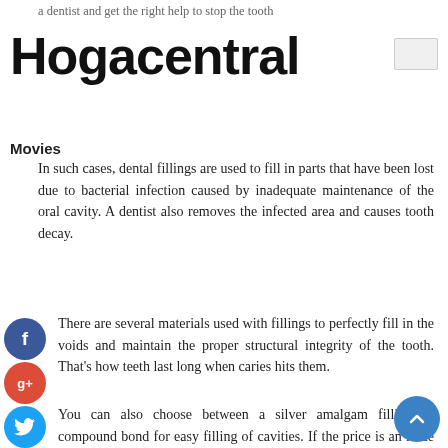a dentist and get the right help to stop the tooth
Hogacentral
Movies
In such cases, dental fillings are used to fill in parts that have been lost due to bacterial infection caused by inadequate maintenance of the oral cavity. A dentist also removes the infected area and causes tooth decay.
There are several materials used with fillings to perfectly fill in the voids and maintain the proper structural integrity of the tooth. That's how teeth last long when caries hits them.
You can also choose between a silver amalgam filling or compound bond for easy filling of cavities. If the price is an issue for you, you should give preference to silver amalgam fillings as they are